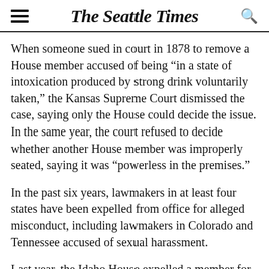The Seattle Times
When someone sued in court in 1878 to remove a House member accused of being “in a state of intoxication produced by strong drink voluntarily taken,” the Kansas Supreme Court dismissed the case, saying only the House could decide the issue. In the same year, the court refused to decide whether another House member was improperly seated, saying it was “powerless in the premises.”
In the past six years, lawmakers in at least four states have been expelled from office for alleged misconduct, including lawmakers in Colorado and Tennessee accused of sexual harassment.
Last year, the Idaho House expelled a member for the first time in that state’s history after he was